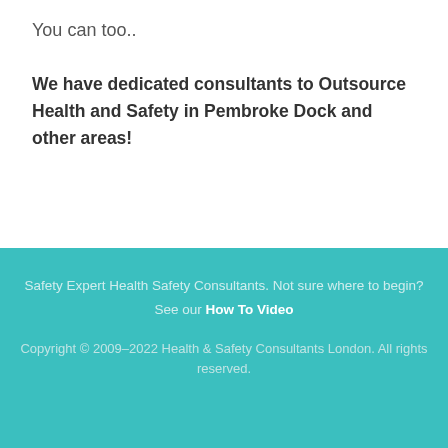You can too..
We have dedicated consultants to Outsource Health and Safety in Pembroke Dock and other areas!
Safety Expert Health Safety Consultants. Not sure where to begin? See our How To Video
Copyright © 2009–2022 Health & Safety Consultants London. All rights reserved.